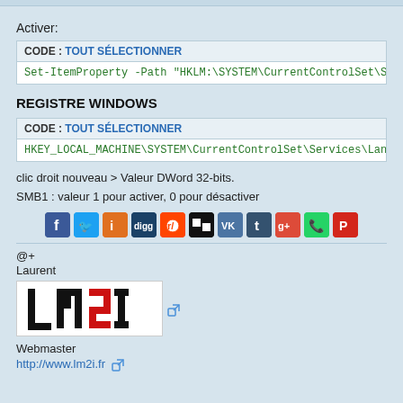Activer:
| CODE : TOUT SÉLECTIONNER |
| --- |
| Set-ItemProperty -Path "HKLM:\SYSTEM\CurrentControlSet\Servi... |
REGISTRE WINDOWS
| CODE : TOUT SÉLECTIONNER |
| --- |
| HKEY_LOCAL_MACHINE\SYSTEM\CurrentControlSet\Services\LanmanS... |
clic droit nouveau > Valeur DWord 32-bits.
SMB1 : valeur 1 pour activer, 0 pour désactiver
[Figure (infographic): Row of social sharing icons: Facebook, Twitter, Instapaper, Digg, Reddit, Delicious, VK, Tumblr, Google+, WhatsApp, Pocket]
@+
Laurent
[Figure (logo): LM2I logo — stylized letters L, M, 2, I in black and red on white background, with external link icon]
Webmaster
http://www.lm2i.fr